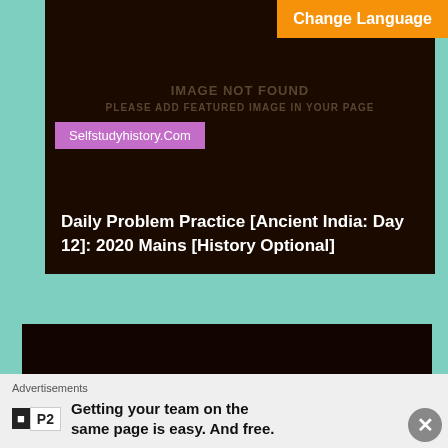[Figure (screenshot): Dark brown/black placeholder box showing IMAGE NOT FOUND and PLEASE ADD FEATURED IMAGE IN YOUR PAGE text]
Change Language
Selfstudyhistory.Com
Daily Problem Practice [Ancient India: Day 12]: 2020 Mains [History Optional]
[Figure (screenshot): Second dark brown/black placeholder box showing IMAGE NOT FOUND and PLEASE ADD FEATURED IMAGE IN YOUR PAGE text]
Advertisements
Getting your team on the same page is easy. And free.